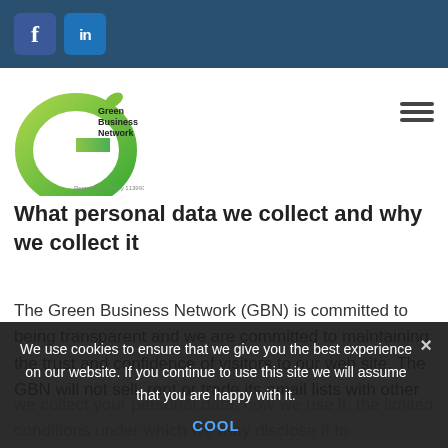Social media icons: Facebook, LinkedIn
[Figure (logo): Green Business Network logo — stylized green letter G with leaf, and text 'Green Business Network Registered Charity 1139936']
What personal data we collect and why we collect it
The Green Business Network (GBN) is committed to being transparent and we are committed to maintaining the trust and confidence of visitors to our web site. The GBN will not sell, rent or trade its email lists with other
we collect your personal data, how we use it, the limited conditions under which we may disclose it to others, and how we keep it secure.
We use cookies to ensure that we give you the best experience on our website. If you continue to use this site we will assume that you are happy with it.
COOL